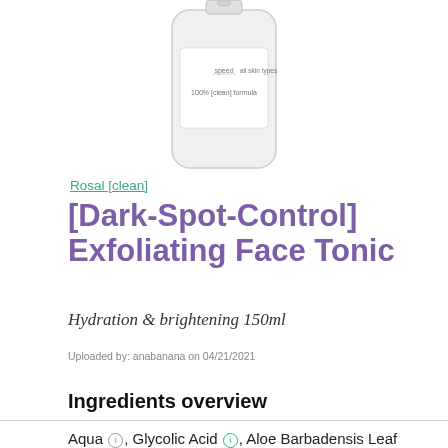[Figure (photo): White cylindrical product bottle for Rosal [clean] Dark-Spot-Control Exfoliating Face Tonic, partially visible at top of page]
Rosal [clean]
[Dark-Spot-Control] Exfoliating Face Tonic
Hydration & brightening 150ml
Uploaded by: anabanana on 04/21/2021
Ingredients overview
Aqua ⓘ, Glycolic Acid ⓘ, Aloe Barbadensis Leaf